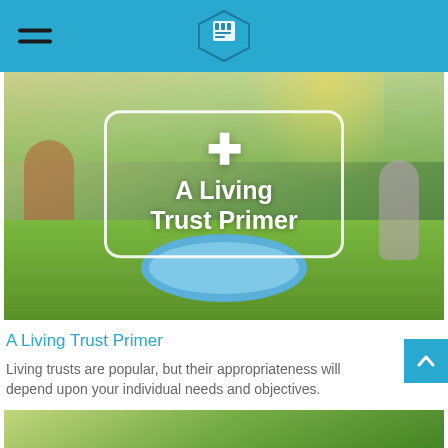Financial Basics - Navigation header with logo
[Figure (photo): Outdoor summer scene with children playing with water sprinklers around an inflatable pool in a backyard. Overlaid with a white-bordered rounded rectangle containing a large white plus/cross symbol and bold white text reading 'A Living Trust Primer'.]
A Living Trust Primer
Living trusts are popular, but their appropriateness will depend upon your individual needs and objectives.
[Figure (photo): Bottom strip showing outdoor scene, partially visible.]